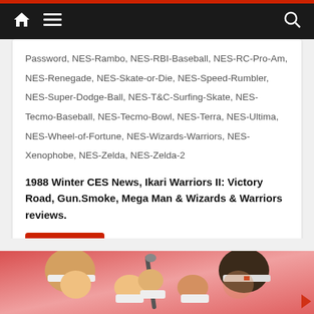Navigation bar with home icon, menu icon, and search icon
Password, NES-Rambo, NES-RBI-Baseball, NES-RC-Pro-Am, NES-Renegade, NES-Skate-or-Die, NES-Speed-Rumbler, NES-Super-Dodge-Ball, NES-T&C-Surfing-Skate, NES-Tecmo-Baseball, NES-Tecmo-Bowl, NES-Terra, NES-Ultima, NES-Wheel-of-Fortune, NES-Wizards-Warriors, NES-Xenophobe, NES-Zelda, NES-Zelda-2
1988 Winter CES News, Ikari Warriors II: Victory Road, Gun.Smoke, Mega Man & Wizards & Warriors reviews.
Read more
[Figure (photo): Illustration showing two fighters facing each other holding a weapon between them, with red/pink background — appears to be video game cover art]